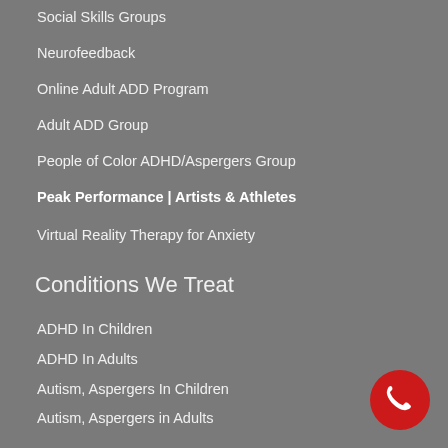Social Skills Groups
Neurofeedback
Online Adult ADD Program
Adult ADD Group
People of Color ADHD/Aspergers Group
Peak Performance | Artists & Athletes
Virtual Reality Therapy for Anxiety
Conditions We Treat
ADHD In Children
ADHD In Adults
Autism, Aspergers In Children
Autism, Aspergers in Adults
Sesnory Processing Issues
Social Pragmatic Communication Disorder
Social Skills Deficits